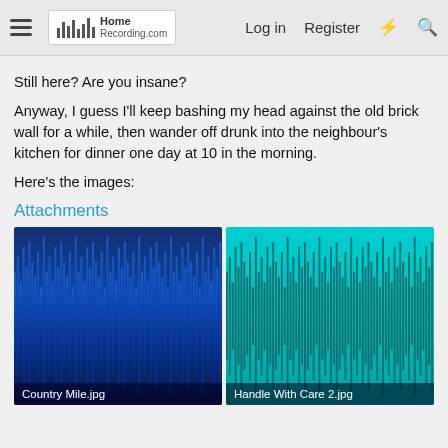HomeRecording.com — Log in  Register
Still here? Are you insane?
Anyway, I guess I'll keep bashing my head against the old brick wall for a while, then wander off drunk into the neighbour's kitchen for dinner one day at 10 in the morning.
Here's the images:
Attachments
[Figure (other): Audio waveform image with blue gradient background, showing dense waveform data. Labeled 'Country Mile.jpg']
[Figure (other): Audio waveform image with cyan/teal background showing dense waveform data. Labeled 'Handle With Care 2.jpg']